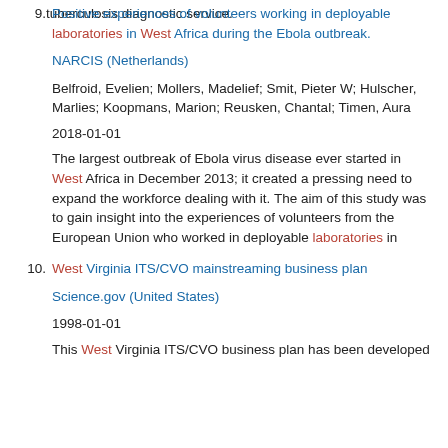tuberculosis diagnostic service.
9. Positive experiences of volunteers working in deployable laboratories in West Africa during the Ebola outbreak.
NARCIS (Netherlands)
Belfroid, Evelien; Mollers, Madelief; Smit, Pieter W; Hulscher, Marlies; Koopmans, Marion; Reusken, Chantal; Timen, Aura
2018-01-01
The largest outbreak of Ebola virus disease ever started in West Africa in December 2013; it created a pressing need to expand the workforce dealing with it. The aim of this study was to gain insight into the experiences of volunteers from the European Union who worked in deployable laboratories in
10. West Virginia ITS/CVO mainstreaming business plan
Science.gov (United States)
1998-01-01
This West Virginia ITS/CVO business plan has been developed